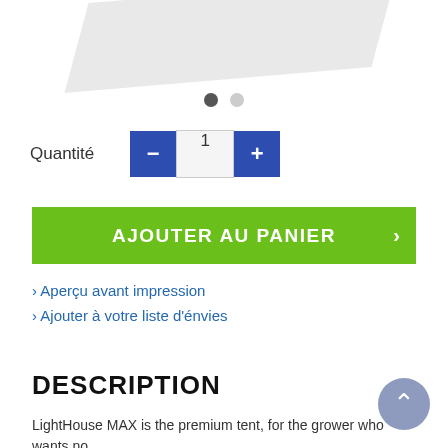[Figure (photo): Partial product image at top of page, showing a grey/white tent or object cropped at the top]
Quantité  -  1  +
AJOUTER AU PANIER ›
› Aperçu avant impression
› Ajouter à votre liste d'énvies
DESCRIPTION
LightHouse MAX is the premium tent, for the grower who wants no compromises…